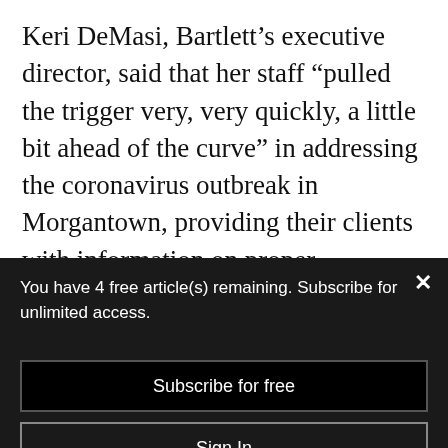Keri DeMasi, Bartlett's executive director, said that her staff “pulled the trigger very, very quickly, a little bit ahead of the curve” in addressing the coronavirus outbreak in Morgantown, providing their clients with information on proper sanitation, distancing and the availability of resources. “We know
You have 4 free article(s) remaining. Subscribe for unlimited access.
Subscribe for free
Sign In